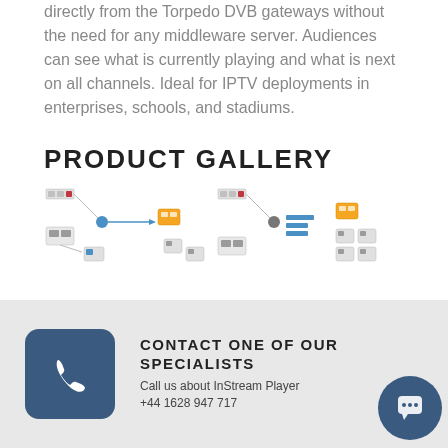directly from the Torpedo DVB gateways without the need for any middleware server. Audiences can see what is currently playing and what is next on all channels. Ideal for IPTV deployments in enterprises, schools, and stadiums.
PRODUCT GALLERY
[Figure (illustration): Two network/system diagram illustrations showing connected devices and components for IPTV deployment.]
CONTACT ONE OF OUR SPECIALISTS
Call us about InStream Player
+44 1628 947 717